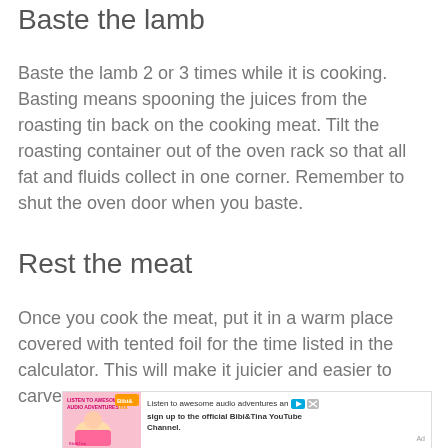Baste the lamb
Baste the lamb 2 or 3 times while it is cooking. Basting means spooning the juices from the roasting tin back on the cooking meat. Tilt the roasting container out of the oven rack so that all fat and fluids collect in one corner. Remember to shut the oven door when you baste.
Rest the meat
Once you cook the meat, put it in a warm place covered with tented foil for the time listed in the calculator. This will make it juicier and easier to carve.
[Figure (other): Advertisement banner for Bibi&Tina YouTube Channel with cartoon image and text: Listen to awesome audio adventures and sign up to the official Bibi&Tina YouTube Channel.]